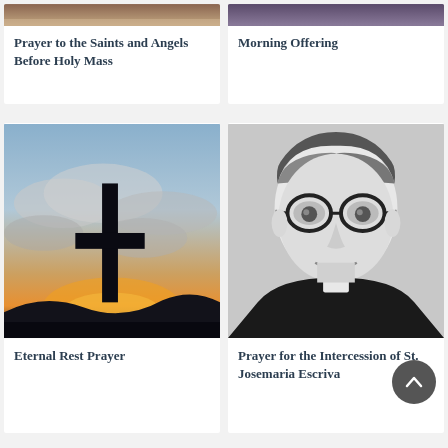[Figure (photo): Partial cropped image at top of first card showing religious/saints imagery]
Prayer to the Saints and Angels Before Holy Mass
[Figure (photo): Partial cropped image at top of second card]
Morning Offering
[Figure (photo): Cross silhouette against dramatic cloudy sky with orange sunset light]
Eternal Rest Prayer
[Figure (photo): Black and white portrait of St. Josemaria Escriva wearing glasses and clerical collar]
Prayer for the Intercession of St. Josemaria Escriva